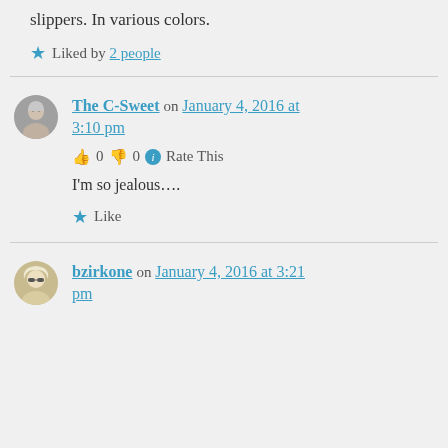slippers. In various colors.
Liked by 2 people
The C-Sweet on January 4, 2016 at 3:10 pm
👍 0 👎 0 ℹ Rate This
I'm so jealous....
Like
bzirkone on January 4, 2016 at 3:21 pm